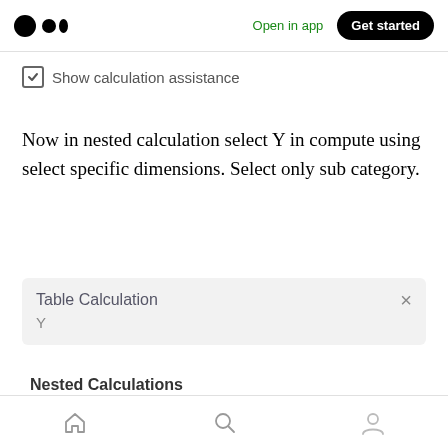Open in app  Get started
☑ Show calculation assistance
Now in nested calculation select Y in compute using select specific dimensions. Select only sub category.
Table Calculation
Y
Nested Calculations
[home] [search] [profile]